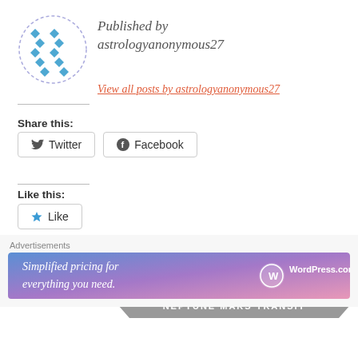[Figure (illustration): Circular avatar with blue diamond/cross pattern on white background, dashed border circle]
Published by astrologyanonymous27
View all posts by astrologyanonymous27
Share this:
Twitter
Facebook
Like this:
Like
Be the first to like this.
[Figure (illustration): Dark grey arrow-shaped banner with white text: NEPTUNE CONJUNCT MARS TRANSIT]
[Figure (illustration): Dark grey arrow-shaped banner with white text: NEPTUNE MARS TRANSIT (partially visible)]
Advertisements
[Figure (illustration): WordPress.com advertisement banner: Simplified pricing for everything you need. Blue/purple gradient with WordPress.com logo]